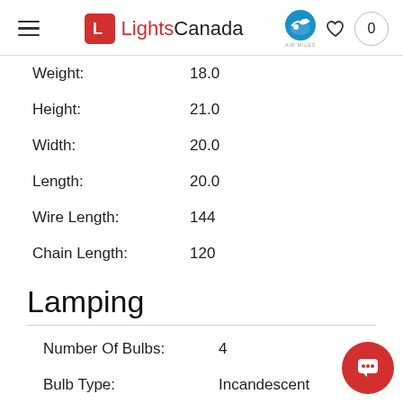LightsCanada — navigation header with logo, Air Miles badge, heart icon, and cart showing 0
| Attribute | Value |
| --- | --- |
| Weight: | 18.0 |
| Height: | 21.0 |
| Width: | 20.0 |
| Length: | 20.0 |
| Wire Length: | 144 |
| Chain Length: | 120 |
Lamping
| Attribute | Value |
| --- | --- |
| Number Of Bulbs: | 4 |
| Bulb Type: | Incandescent |
| Wattage: | 60 |